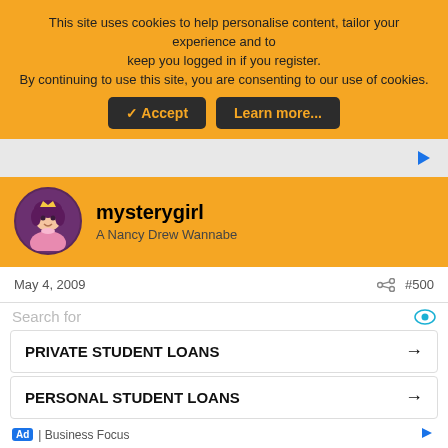This site uses cookies to help personalise content, tailor your experience and to keep you logged in if you register. By continuing to use this site, you are consenting to our use of cookies.
Accept | Learn more...
[Figure (screenshot): Ad banner area with play icon]
[Figure (illustration): Avatar of mysterygirl - anime-style girl with purple hair and tiara]
mysterygirl
A Nancy Drew Wannabe
May 4, 2009
#500
Brown..........that was one of my questions, did they find the cell phone, I couldn't find an answer to that....it is very interesting if, as you noted, they did not.
There seems to be some religious aspect to these or spiritual
Search for
PRIVATE STUDENT LOANS →
PERSONAL STUDENT LOANS →
Ad | Business Focus